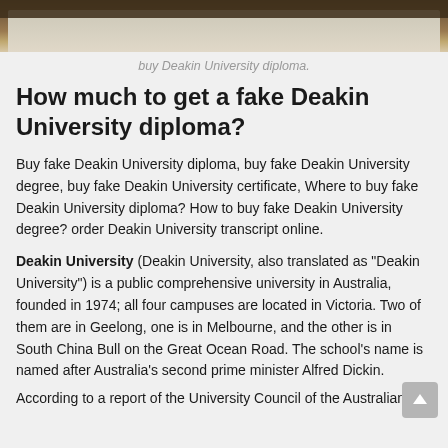[Figure (photo): Top portion of an image showing a Deakin University diploma document on a wooden surface]
buy Deakin University diploma.
How much to get a fake Deakin University diploma?
Buy fake Deakin University diploma, buy fake Deakin University degree, buy fake Deakin University certificate, Where to buy fake Deakin University diploma? How to buy fake Deakin University degree? order Deakin University transcript online.
Deakin University (Deakin University, also translated as "Deakin University") is a public comprehensive university in Australia, founded in 1974; all four campuses are located in Victoria. Two of them are in Geelong, one is in Melbourne, and the other is in South China Bull on the Great Ocean Road. The school's name is named after Australia's second prime minister Alfred Dickin.
According to a report of the University Council of the Australian